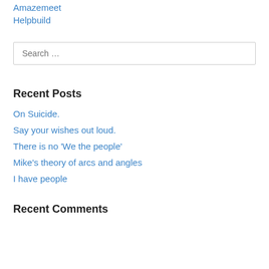Amazemeet
Helpbuild
Search …
Recent Posts
On Suicide.
Say your wishes out loud.
There is no 'We the people'
Mike's theory of arcs and angles
I have people
Recent Comments